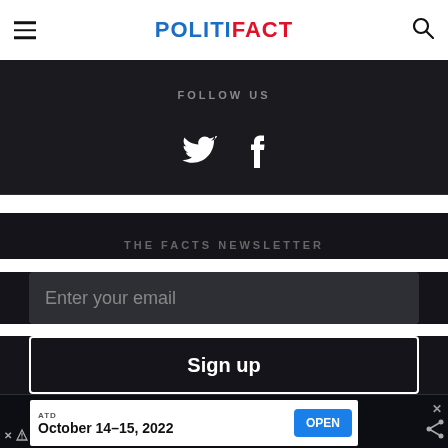POLITIFACT
FOLLOW US
[Figure (other): Twitter and Facebook social media icons in white on dark background]
THE FACTS NEWSLETTER
Enter your email
Sign up
ATD
October 14-15, 2022
OPEN